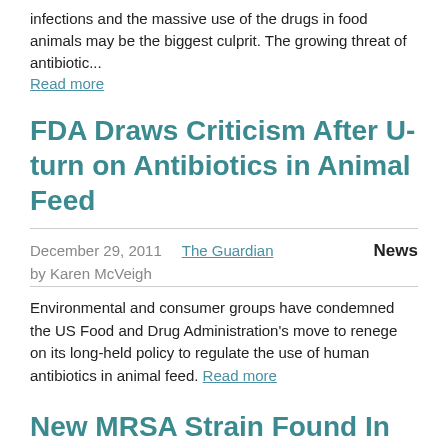infections and the massive use of the drugs in food animals may be the biggest culprit. The growing threat of antibiotic...
Read more
FDA Draws Criticism After U-turn on Antibiotics in Animal Feed
December 29, 2011   The Guardian   News
by Karen McVeigh
Environmental and consumer groups have condemned the US Food and Drug Administration's move to renege on its long-held policy to regulate the use of human antibiotics in animal feed. Read more
New MRSA Strain Found In Dairy Cattle and Humans
June 4, 2011   Scientific American   News